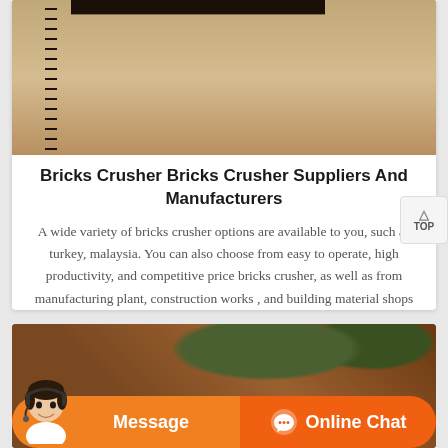[Figure (photo): Industrial crusher/mining equipment with large metal tank, scaffolding and ladder structure against a hazy sky]
Bricks Crusher Bricks Crusher Suppliers And Manufacturers
A wide variety of bricks crusher options are available to you, such as turkey, malaysia. You can also choose from easy to operate, high productivity, and competitive price bricks crusher, as well as from manufacturing plant, construction works , and building material shops bricks crusher, and whether bricks crusher is 1 year, 2 years, or 3 years.
[Figure (photo): Outdoor industrial/mining site with rust-colored metal structures and green trees in background]
Message
Online Chat